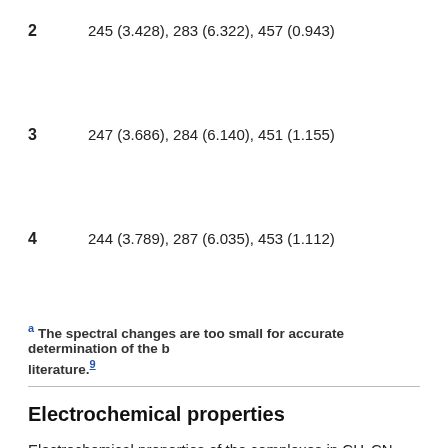| 2 | 245 (3.428), 283 (6.322), 457 (0.943) |
| 3 | 247 (3.686), 284 (6.140), 451 (1.155) |
| 4 | 244 (3.789), 287 (6.035), 453 (1.112) |
a The spectral changes are too small for accurate determination of the b literature.9
Electrochemical properties
Electrochemical properties of the complexes in CH3CN solution containing 0.1 M nBu4NPF6 as the supporting electrolyte were investigated by cyclic voltammetry. The complexes were subjected